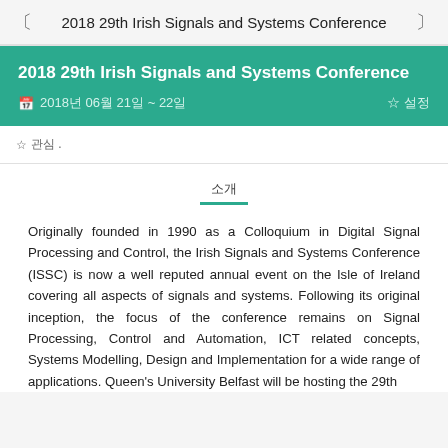2018 29th Irish Signals and Systems Conference
2018 29th Irish Signals and Systems Conference
2018년 06월 21일 ~ 22일
☆ 관심 .
소개
Originally founded in 1990 as a Colloquium in Digital Signal Processing and Control, the Irish Signals and Systems Conference (ISSC) is now a well reputed annual event on the Isle of Ireland covering all aspects of signals and systems. Following its original inception, the focus of the conference remains on Signal Processing, Control and Automation, ICT related concepts, Systems Modelling, Design and Implementation for a wide range of applications. Queen's University Belfast will be hosting the 29th